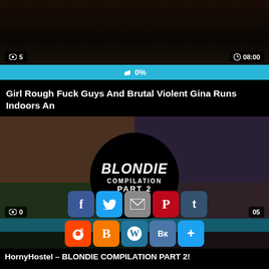[Figure (screenshot): Video thumbnail showing dark content with view count 5 and duration 08:00]
0%
Girl Rough Fuck Guys And Brutal Violent Gina Runs Indoors An
[Figure (screenshot): Blondie Compilation Part 2 video thumbnail collage with view count 0 and duration 05]
1.0%
HornyHostel – BLONDIE COMPILATION PART 2!